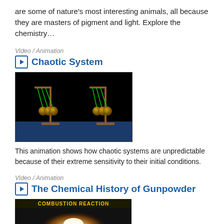are some of nature's most interesting animals, all because they are masters of pigment and light. Explore the chemistry…
Video / Animation
Chaotic System
[Figure (screenshot): Animation thumbnail showing two pendulum-bob systems on dark background with green strings and gold spheres, with blue floor]
This animation shows how chaotic systems are unpredictable because of their extreme sensitivity to their initial conditions.
Video / Animation
The Chemical History of Gunpowder
[Figure (screenshot): Video thumbnail showing 'COMBUSTION REACTION' label on dark background with bright combustion light and golden surface]